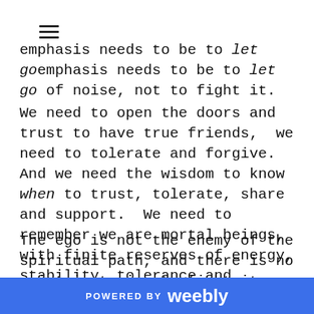≡
emphasis needs to be to let go of noise, not to fight it.
We need to open the doors and trust to have true friends,  we need to tolerate and forgive. And we need the wisdom to know when to trust, tolerate, share and support.  We need to remember we are mortal beings, with finite reserves of energy, stability, tolerance and forgiveness, and physical endurance.
The ego is not the enemy of the spiritual path, and there is no point in trying to fight it or destroy it.
POWERED BY weebly